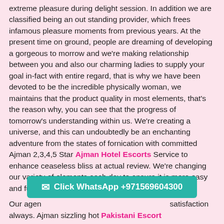extreme pleasure during delight session. In addition we are classified being an out standing provider, which frees infamous pleasure moments from previous years. At the present time on ground, people are dreaming of developing a gorgeous to morrow and we're making relationship between you and also our charming ladies to supply your goal in-fact with entire regard, that is why we have been devoted to be the incredible physically woman, we maintains that the product quality in most elements, that's the reason why, you can see that the progress of tomorrow's understanding within us. We're creating a universe, and this can undoubtedly be an enchanting adventure from the states of fornication with committed Ajman 2,3,4,5 Star Ajman Hotel Escorts Service to enhance ceaseless bliss at actual review. We're changing our variety of elements each day to ensure it is more easy and full of ultra pleasure at bedrooms.
Click WhatsApp +971569604300
Our agen... satisfaction always. Ajman sizzling hot Pakistani Escort